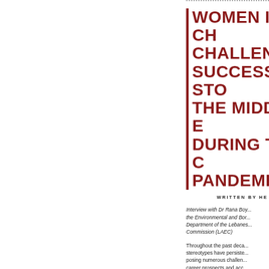WOMEN IN CH... CHALLENGES... SUCCESS STO... THE MIDDLE E... DURING THE C... PANDEMIC
WRITTEN BY HE...
Interview with Dr Rana Boy... the Environmental and Bor... Department of the Lebanes... Commission (LAEC)
Throughout the past deca... stereotypes have persiste... posing numerous challen... career prospects and acc... fields to women and boys...